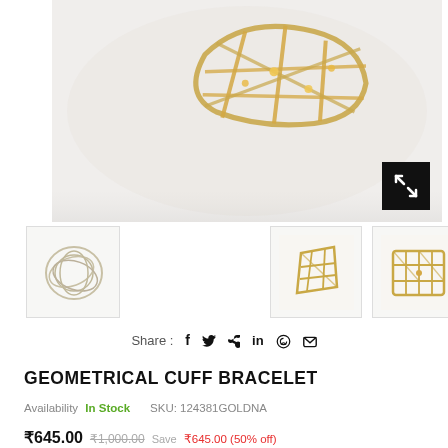[Figure (photo): Close-up product photo of a gold geometric cuff bracelet with crisscross metal framework design on white/grey background. Expand icon (black square with arrows) in bottom-right corner.]
[Figure (photo): Thumbnail 1: silver/white wire geometric ring or bracelet]
[Figure (photo): Thumbnail 2: gold geometric angular cuff bracelet, angled view]
[Figure (photo): Thumbnail 3: gold rectangular geometric cuff bracelet, straight-on view]
Share : f  🐦  𝒫  in  ⊕  ✉
GEOMETRICAL CUFF BRACELET
Availability In Stock    SKU: 124381GOLDNA
₹645.00  ₹1,000.00  Save ₹645.00 (50% off)